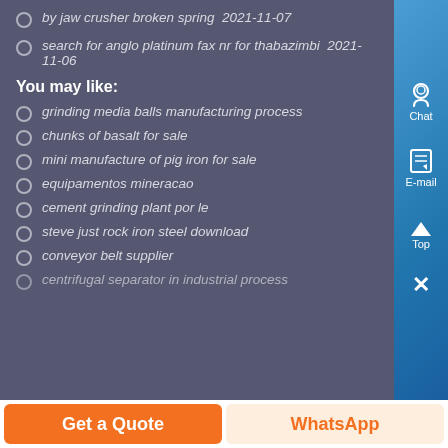by jaw crusher broken spring  2021-11-07
search for anglo platinum fax nr for thabazimbi  2021-11-06
You may like:
grinding media balls manufacturing process
chunks of basalt for sale
mini manufacture of pig iron for sale
equipamentos mineracao
cement grinding plant por le
steve just rock iron steel download
conveyor belt supplier
centrifugal separator in industrial process